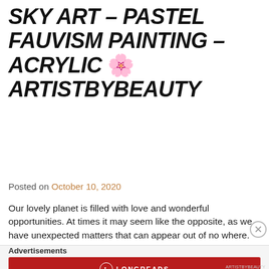SKY ART – PASTEL FAUVISM PAINTING – ACRYLIC 🌸 ARTISTBYBEAUTY
Posted on October 10, 2020
Our lovely planet is filled with love and wonderful opportunities. At times it may seem like the opposite, as we have unexpected matters that can appear out of no where. During difficult times, it is important that we have the strength to overcome anything ❤ There is greatness within you. It may be hard for … Continue reading →
Advertisements
[Figure (other): Longreads advertisement banner in dark red with logo and tagline: The best stories on the web – ours, and everyone else's.]